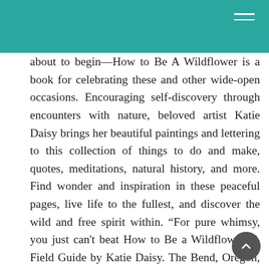Navigation header with hamburger menu
about to begin—How to Be A Wildflower is a book for celebrating these and other wide-open occasions. Encouraging self-discovery through encounters with nature, beloved artist Katie Daisy brings her beautiful paintings and lettering to this collection of things to do and make, quotes, meditations, natural history, and more. Find wonder and inspiration in these peaceful pages, live life to the fullest, and discover the wild and free spirit within. “For pure whimsy, you just can't beat How to Be a Wildflower: A Field Guide by Katie Daisy. The Bend, Oregon, artist brings her beautiful paintings and lettering to this delightful